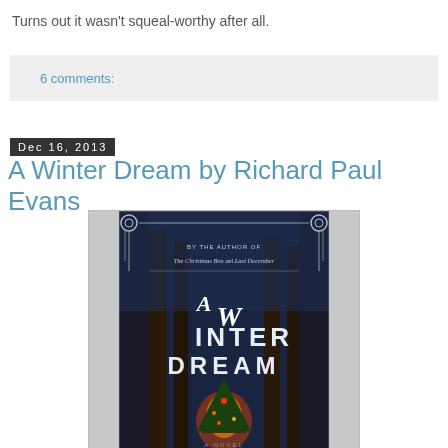Turns out it wasn't squeal-worthy after all.
6 comments:
Dec 16, 2013
A Winter Dream by Richard Paul Evans
[Figure (photo): Book cover of 'A Winter Dream' by Richard Paul Evans, showing a glowing Christmas tree in a dark snowy forest. Text on cover reads: BY THE AUTHOR OF The Christmas Box and Last December, A Winter Dream, A NOVEL]